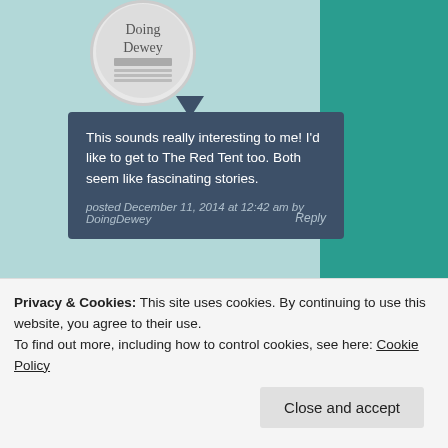[Figure (logo): Circular avatar with 'Doing Dewey' text and book imagery]
This sounds really interesting to me! I'd like to get to The Red Tent too. Both seem like fascinating stories.
posted December 11, 2014 at 12:42 am by DoingDewey
Reply
[Figure (photo): Circular avatar showing a smiling woman with short brown hair]
Dare I ask what The Red Tent is about?
Privacy & Cookies: This site uses cookies. By continuing to use this website, you agree to their use.
To find out more, including how to control cookies, see here: Cookie Policy
Close and accept